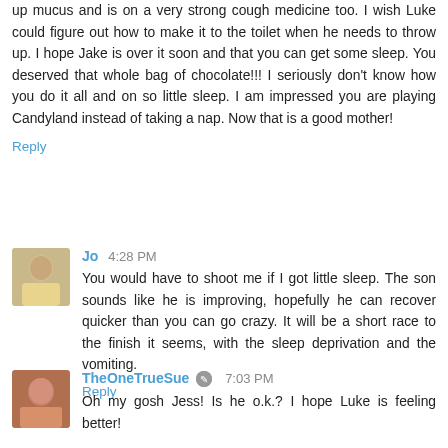up mucus and is on a very strong cough medicine too. I wish Luke could figure out how to make it to the toilet when he needs to throw up. I hope Jake is over it soon and that you can get some sleep. You deserved that whole bag of chocolate!!! I seriously don't know how you do it all and on so little sleep. I am impressed you are playing Candyland instead of taking a nap. Now that is a good mother!
Reply
Jo  4:28 PM
You would have to shoot me if I got little sleep. The son sounds like he is improving, hopefully he can recover quicker than you can go crazy. It will be a short race to the finish it seems, with the sleep deprivation and the vomiting.
Reply
TheOneTrueSue  7:03 PM
Oh my gosh Jess! Is he o.k.? I hope Luke is feeling better!